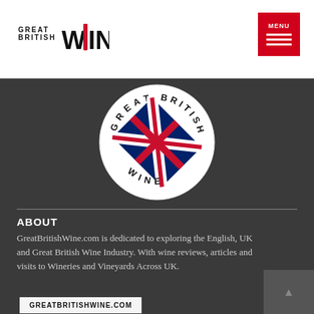Great British Wine — header with logo and menu button
[Figure (logo): Great British Wine circular logo with Union Jack wine bottle on white background, text 'GREAT BRITISH WINE' around the circle]
ABOUT
GreatBritishWine.com is dedicated to exploring the English, UK and Great British Wine Industry. With wine reviews, articles and visits to Wineries and Vineyards Across UK.
GREATBRITISHWINE.COM